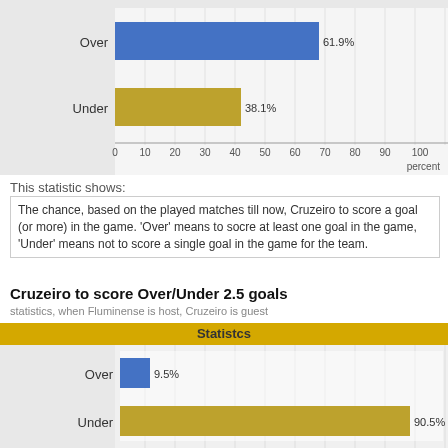[Figure (bar-chart): Statistics (top chart)]
This statistic shows:
The chance, based on the played matches till now, Cruzeiro to score a goal (or more) in the game. 'Over' means to socre at least one goal in the game, 'Under' means not to score a single goal in the game for the team.
Cruzeiro to score Over/Under 2.5 goals
statistics, when Fluminense is host, Cruzeiro is guest
[Figure (bar-chart): Statistcs]